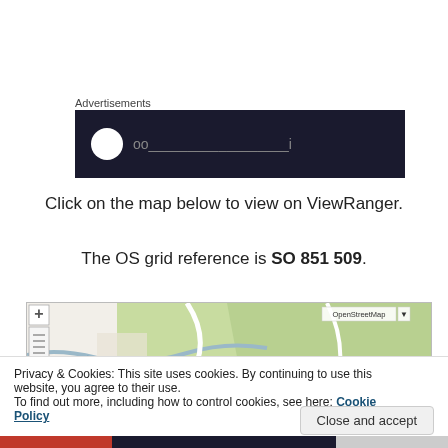Advertisements
[Figure (screenshot): Dark advertisement banner with white circle logo and partially visible text on dark navy background]
Click on the map below to view on ViewRanger.
The OS grid reference is SO 851 509.
[Figure (map): OpenStreetMap showing green terrain and a road/river path labeled Brockhatch, with zoom controls on the left and OpenStreetMap selector in top right]
Privacy & Cookies: This site uses cookies. By continuing to use this website, you agree to their use.
To find out more, including how to control cookies, see here: Cookie Policy
Close and accept